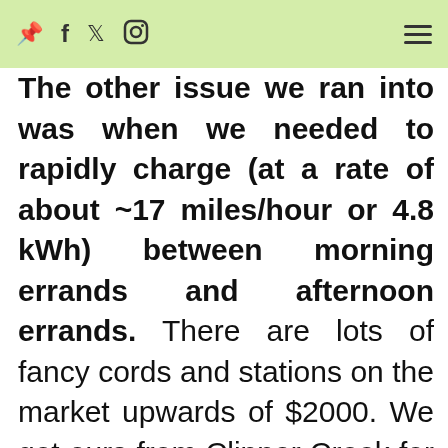Pinterest Facebook Twitter Instagram [hamburger menu]
The other issue we ran into was when we needed to rapidly charge (at a rate of about ~17 miles/hour or 4.8 kWh) between morning errands and afternoon errands. There are lots of fancy cords and stations on the market upwards of $2000. We got ours from Clipper Creek for just $550. It just plugs into a clothes dryer style outlet. The only installation required was to install a 240 volt outlet next to our electrical panel